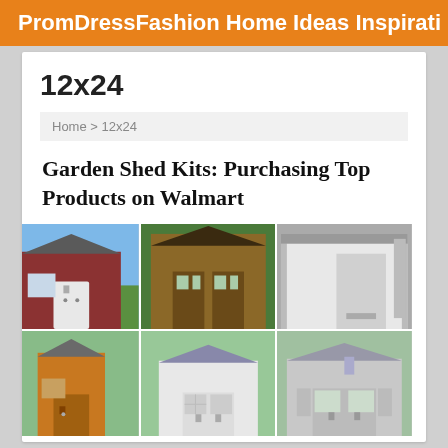PromDressFashion Home Ideas Inspirati…
12x24
Home > 12x24
Garden Shed Kits: Purchasing Top Products on Walmart
[Figure (photo): Grid of 6 garden shed images: red barn-style shed, wooden garden shed with double doors, metal lean-to shed, small wooden shed, white painted shed, grey cottage-style shed]